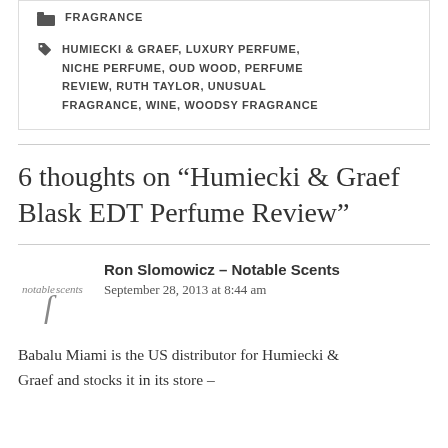FRAGRANCE
HUMIECKI & GRAEF, LUXURY PERFUME, NICHE PERFUME, OUD WOOD, PERFUME REVIEW, RUTH TAYLOR, UNUSUAL FRAGRANCE, WINE, WOODSY FRAGRANCE
6 thoughts on “Humiecki & Graef Blask EDT Perfume Review”
Ron Slomowicz – Notable Scents
September 28, 2013 at 8:44 am
Babalu Miami is the US distributor for Humiecki & Graef and stocks it in its store –